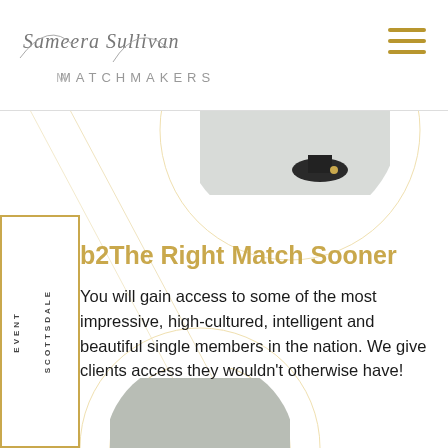[Figure (logo): Sameera Sullivan Matchmakers script logo with serif/italic styling]
[Figure (illustration): Hamburger menu icon with three gold horizontal lines]
[Figure (photo): Partial circular photo at top center showing a dark object]
[Figure (illustration): Gold bordered sidebar box with vertical text EVENT and SCOTTSDALE]
b2The Right Match Sooner
You will gain access to some of the most impressive, high-cultured, intelligent and beautiful single members in the nation. We give clients access they wouldn't otherwise have!
[Figure (photo): Partial circular photo at bottom showing a person]